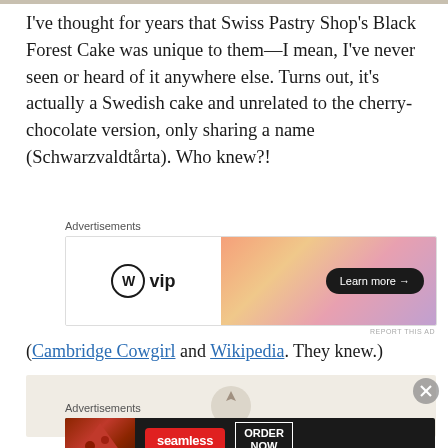I've thought for years that Swiss Pastry Shop's Black Forest Cake was unique to them—I mean, I've never seen or heard of it anywhere else. Turns out, it's actually a Swedish cake and unrelated to the cherry-chocolate version, only sharing a name (Schwarzvaldtårta). Who knew?!
[Figure (other): WordPress VIP advertisement banner with gradient orange-pink background and 'Learn more →' button]
(Cambridge Cowgirl and Wikipedia. They knew.)
[Figure (other): Partially visible image preview with close button]
[Figure (other): Seamless food delivery advertisement with pizza image, Seamless logo and ORDER NOW button]